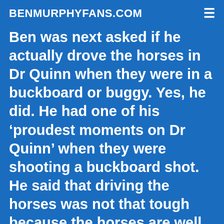BENMURPHYFANS.COM
Ben was next asked if he actually drove the horses in Dr Quinn when they were in a buckboard or buggy. Yes, he did. He had one of his ‘proudest moments on Dr Quinn’ when they were shooting a buckboard shot. He said that driving the horses was not that tough because the horses are well trained. ‘Usually the actor does the driving unless it’s a far away shot’ in which case someone else may do it to save time. He said Dr Quinn was ‘filmed